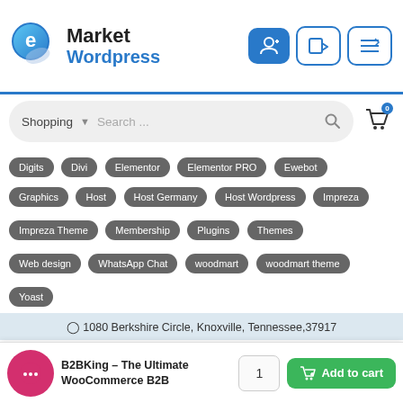[Figure (logo): Market Wordpress logo with blue circular icon and bold text]
[Figure (screenshot): Search bar with Shopping dropdown and search field]
Digits
Divi
Elementor
Elementor PRO
Ewebot
Graphics
Host
Host Germany
Host Wordpress
Impreza
Impreza Theme
Membership
Plugins
Themes
Web design
WhatsApp Chat
woodmart
woodmart theme
Yoast
1080 Berkshire Circle, Knoxville, Tennessee,37917
+1-260-547-2892   Info@MarketWordpress.com
B2BKing – The Ultimate WooCommerce B2B
Add to cart